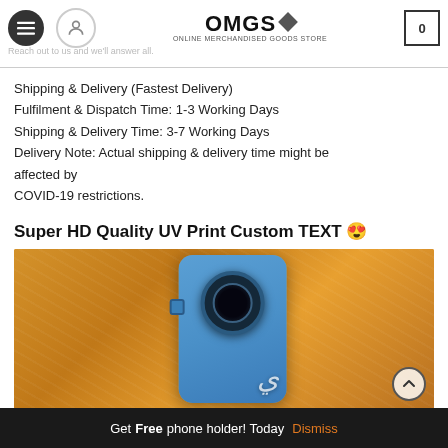OMGS - ONLINE MERCHANDISED GOODS STORE | Reach out to us and we'll answer all. | 0
Shipping & Delivery (Fastest Delivery)
Fulfilment & Dispatch Time: 1-3 Working Days
Shipping & Delivery Time: 3-7 Working Days
Delivery Note: Actual shipping & delivery time might be affected by
COVID-19 restrictions.
Super HD Quality UV Print Custom TEXT 😍
[Figure (photo): Product photo of a blue smartphone case with custom UV printed text design, photographed on an orange/golden textured background. The phone shows a circular camera module.]
Get Free phone holder! Today  Dismiss